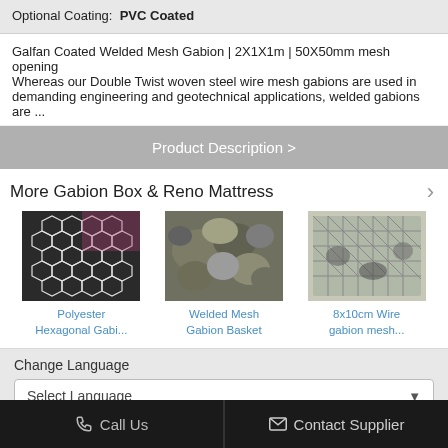Optional Coating:  PVC Coated
Galfan Coated Welded Mesh Gabion | 2X1X1m | 50X50mm mesh opening
Whereas our Double Twist woven steel wire mesh gabions are used in demanding engineering and geotechnical applications, welded gabions are ...
Product Description >
More Gabion Box & Reno Mattress
[Figure (photo): Polyester Hexagonal Gabion mesh close-up photo]
Polyester Hexagonal Gabi...
[Figure (photo): Welded Mesh Gabion Basket filled with rocks]
Welded Mesh Gabion Basket
[Figure (photo): 8x10cm Wire gabion mesh close-up photo]
8x10cm Wire gabion mesh...
Change Language
Select Language
Call Us
Contact Supplier